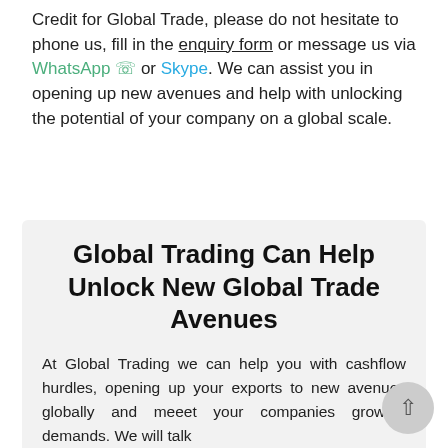Credit for Global Trade, please do not hesitate to phone us, fill in the enquiry form or message us via WhatsApp or Skype. We can assist you in opening up new avenues and help with unlocking the potential of your company on a global scale.
Global Trading Can Help Unlock New Global Trade Avenues
At Global Trading we can help you with cashflow hurdles, opening up your exports to new avenues globally and meeet your companies growing demands. We will talk